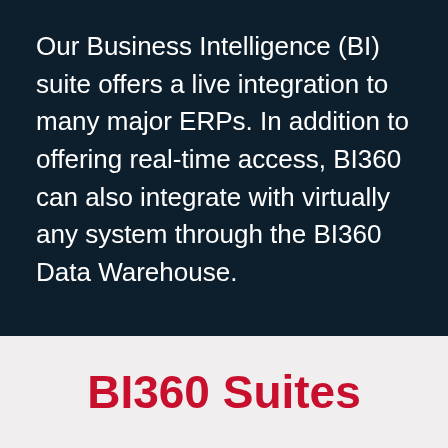Our Business Intelligence (BI) suite offers a live integration to many major ERPs. In addition to offering real-time access, BI360 can also integrate with virtually any system through the BI360 Data Warehouse.
BI360 Suites